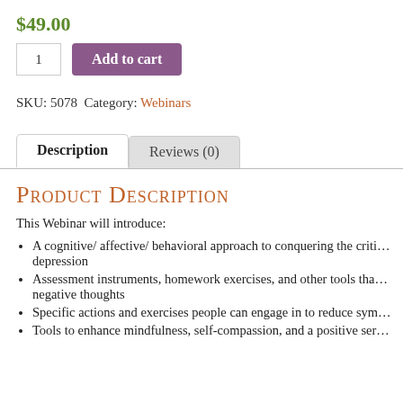$49.00
1  Add to cart
SKU: 5078  Category: Webinars
Description  Reviews (0)
Product Description
This Webinar will introduce:
A cognitive/affective/behavioral approach to conquering the critical thinking errors that maintain depression
Assessment instruments, homework exercises, and other tools that help clients challenge negative thoughts
Specific actions and exercises people can engage in to reduce symptoms
Tools to enhance mindfulness, self-compassion, and a positive sense of self